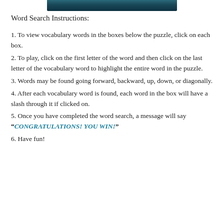[Figure (photo): Partial image of a dark teal/blue colored banner or header graphic at the top of the page]
Word Search Instructions:
1. To view vocabulary words in the boxes below the puzzle, click on each box.
2. To play, click on the first letter of the word and then click on the last letter of the vocabulary word to highlight the entire word in the puzzle.
3. Words may be found going forward, backward, up, down, or diagonally.
4. After each vocabulary word is found, each word in the box will have a slash through it if clicked on.
5. Once you have completed the word search, a message will say “CONGRATULATIONS! YOU WIN!”
6. Have fun!